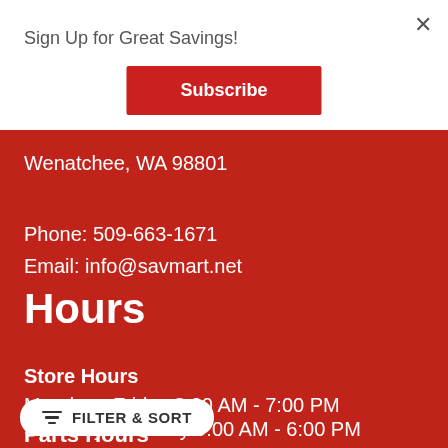Sign Up for Great Savings!
Subscribe
Wenatchee, WA 98801
Phone: 509-663-1671
Email: info@savmart.net
Hours
Store Hours
Monday - Friday 8:00 AM - 7:00 PM
Saturday - Sunday 9:00 AM - 6:00 PM
FILTER & SORT
Parts Hours